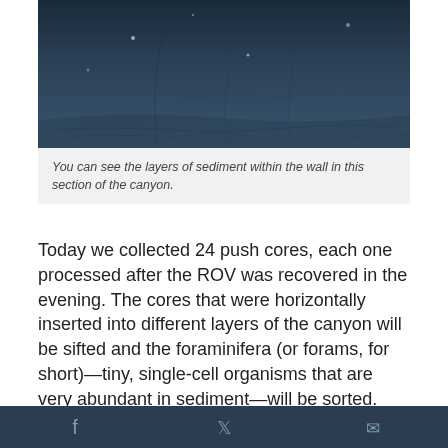[Figure (photo): Underwater photograph showing the wall of a submarine canyon with visible layers of sediment. The image is dark blue-grey in tone, showing the seafloor texture and canyon wall with sediment laminations visible.]
You can see the layers of sediment within the wall in this section of the canyon.
Today we collected 24 push cores, each one processed after the ROV was recovered in the evening. The cores that were horizontally inserted into different layers of the canyon will be sifted and the foraminifera (or forams, for short)—tiny, single-cell organisms that are very abundant in sediment—will be sorted. The forams can be dated to as long as 50,000 years ago using radiocarbon analyses. Comparing the age of the forams in the samples from the canyon layers and from each side of the fault will help the team estimate when the fault slip occurred. It
f  t  ✉